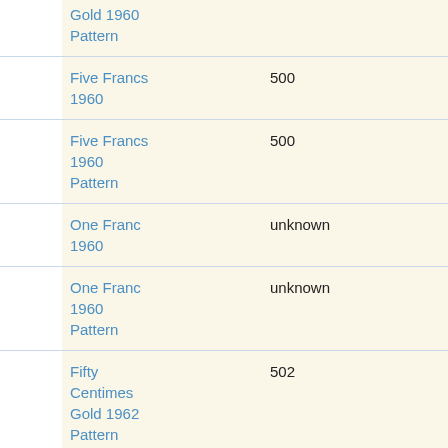|  | Name | Value |  |
| --- | --- | --- | --- |
|  | Gold 1960
Pattern |  |  |
|  | Five Francs 1960 | 500 |  |
|  | Five Francs 1960
Pattern | 500 |  |
|  | One Franc 1960 | unknown |  |
|  | One Franc 1960
Pattern | unknown |  |
|  | Fifty Centimes Gold 1962
Pattern | 502 |  |
|  | Twenty Centimes | 502 |  |